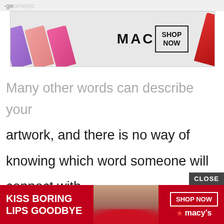-geometric
[Figure (photo): MAC Cosmetics advertisement banner showing purple, pink, and red lipsticks with MAC logo and SHOP NOW button]
Many other words can describe your artwork, and there is no way of knowing which word someone will connect with.
When you’re describing artworks on your website, it’s a good idea to include these adjectives as well as what
[Figure (photo): Macy's advertisement banner showing woman with red lipstick, KISS BORING LIPS GOODBYE text and SHOP NOW button]
CLOSE